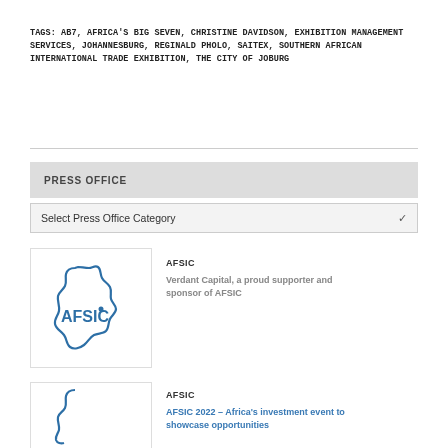TAGS: AB7, AFRICA'S BIG SEVEN, CHRISTINE DAVIDSON, EXHIBITION MANAGEMENT SERVICES, JOHANNESBURG, REGINALD PHOLO, SAITEX, SOUTHERN AFRICAN INTERNATIONAL TRADE EXHIBITION, THE CITY OF JOBURG
PRESS OFFICE
Select Press Office Category
[Figure (logo): AFSIC logo — outline of Africa continent with AFSIC text in blue]
AFSIC
Verdant Capital, a proud supporter and sponsor of AFSIC
[Figure (logo): AFSIC logo — outline of Africa continent with AFSIC text in blue (partial)]
AFSIC
AFSIC 2022 – Africa's investment event to showcase opportunities